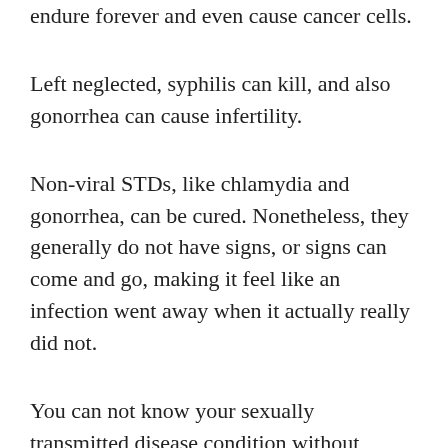endure forever and even cause cancer cells.
Left neglected, syphilis can kill, and also gonorrhea can cause infertility.
Non-viral STDs, like chlamydia and gonorrhea, can be cured. Nonetheless, they generally do not have signs, or signs can come and go, making it feel like an infection went away when it actually really did not.
You can not know your sexually transmitted disease condition without obtaining checked, and also you can’t self-diagnose a sexually transmitted disease based on signs and symptoms and then presume the infection disappeared when symptoms go away. Getting examined can reveal an issue and clear the way